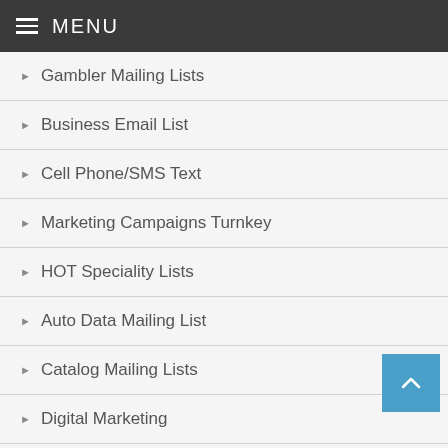MENU
Gambler Mailing Lists
Business Email List
Cell Phone/SMS Text
Marketing Campaigns Turnkey
HOT Speciality Lists
Auto Data Mailing List
Catalog Mailing Lists
Digital Marketing